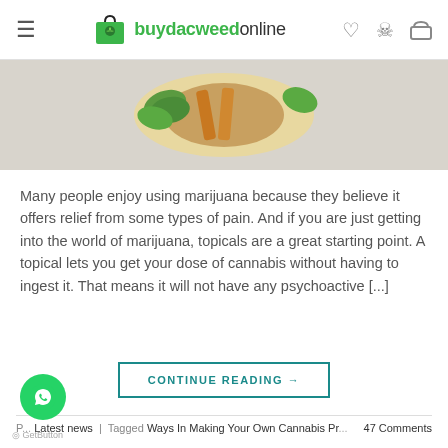buydacweedonline
[Figure (photo): Hero image showing cannabis topical product with coconut and mint leaves]
Many people enjoy using marijuana because they believe it offers relief from some types of pain. And if you are just getting into the world of marijuana, topicals are a great starting point. A topical lets you get your dose of cannabis without having to ingest it. That means it will not have any psychoactive [...]
CONTINUE READING →
P... Latest news | Tagged Ways In Making Your Own Cannabis Pr... 47 Comments